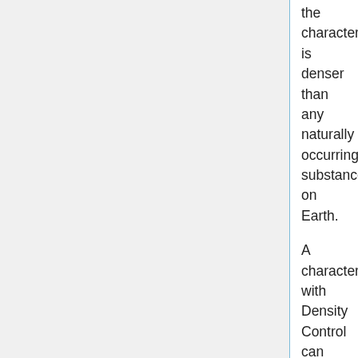the character is denser than any naturally occurring substance on Earth.
A character with Density Control can change their density once per turn, using a quick action. If the character goes unconscious, the character returns to their normal density.
A character with Density Control does not have to use it at full power. A character with Power Level 5, for example, could elect to be merely 400 kilograms rather than their full 17 tonnes.
A character with Density Control adds their Power Level to their combat defense rolls, as with the Damage Resistance power, but only up the level of density the character is actually using. Density Control does not stack with conventional armor or powers such as Force Field...